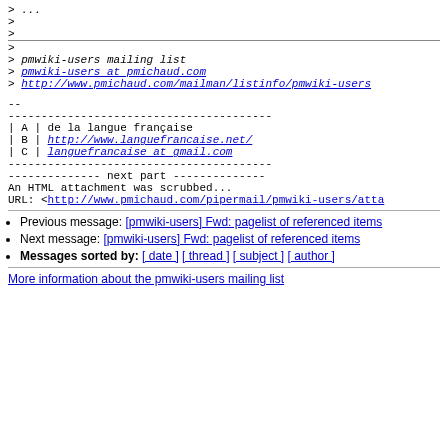> ...
>
>
>
> pmwiki-users mailing list
> pmwiki-users at pmichaud.com
> http://www.pmichaud.com/mailman/listinfo/pmwiki-users
--
----------------------------------------
| A | de la langue française
| B | http://www.languefrancaise.net/
| C | languefrancaise at gmail.com
----------------------------------------
-------------- next part --------------
An HTML attachment was scrubbed...
URL: <http://www.pmichaud.com/pipermail/pmwiki-users/atta
Previous message: [pmwiki-users] Fwd: pagelist of referenced items
Next message: [pmwiki-users] Fwd: pagelist of referenced items
Messages sorted by: [ date ] [ thread ] [ subject ] [ author ]
More information about the pmwiki-users mailing list